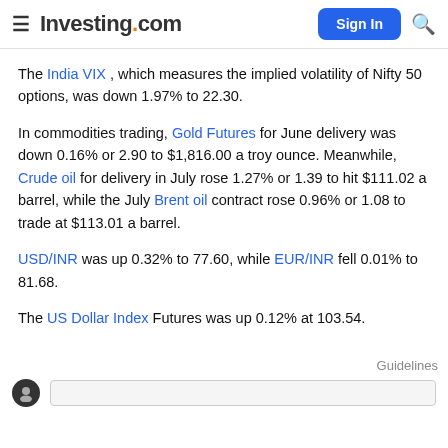Investing.com — Sign In [search]
The India VIX , which measures the implied volatility of Nifty 50 options, was down 1.97% to 22.30.
In commodities trading, Gold Futures for June delivery was down 0.16% or 2.90 to $1,816.00 a troy ounce. Meanwhile, Crude oil for delivery in July rose 1.27% or 1.39 to hit $111.02 a barrel, while the July Brent oil contract rose 0.96% or 1.08 to trade at $113.01 a barrel.
USD/INR was up 0.32% to 77.60, while EUR/INR fell 0.01% to 81.68.
The US Dollar Index Futures was up 0.12% at 103.54.
Guidelines